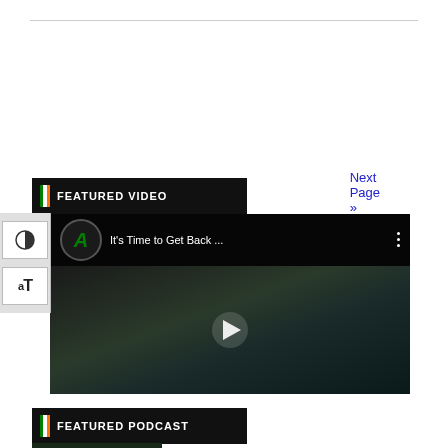Next Page »
FEATURED VIDEO
[Figure (screenshot): YouTube video embed thumbnail showing 'It's Time to Get Back ...' with a play button overlay, dark scene with people in background]
FEATURED PODCAST
[Figure (screenshot): Podcast thumbnail image partially visible at bottom]